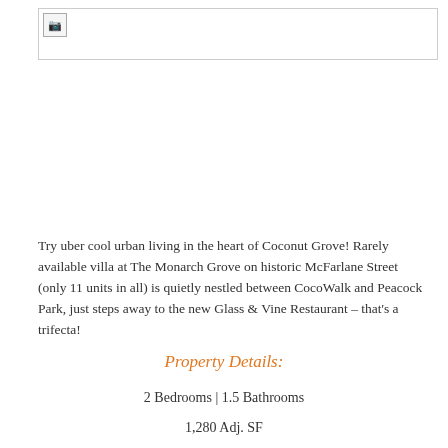[Figure (photo): Broken/missing image placeholder at top of page]
Try uber cool urban living in the heart of Coconut Grove! Rarely available villa at The Monarch Grove on historic McFarlane Street (only 11 units in all) is quietly nestled between CocoWalk and Peacock Park, just steps away to the new Glass & Vine Restaurant – that's a trifecta!
Property Details:
2 Bedrooms | 1.5 Bathrooms
1,280 Adj. SF